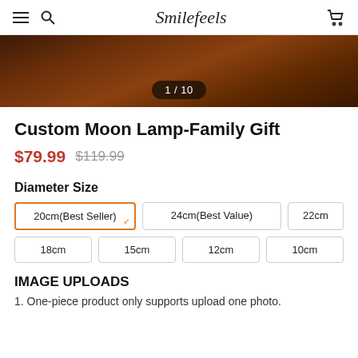Smilefeels
[Figure (photo): Product banner showing a wooden surface (moon lamp) with image counter overlay showing 1/10]
Custom Moon Lamp-Family Gift
$79.99  $119.99
Diameter Size
20cm(Best Seller) [selected], 24cm(Best Value), 22cm, 18cm, 15cm, 12cm, 10cm
IMAGE UPLOADS
1. One-piece product only supports upload one photo.